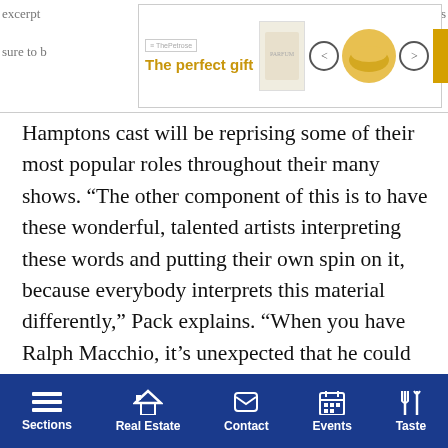[Figure (other): Advertisement banner: 'The perfect gift' with product image, navigation arrows, bowl image, 35% off and Free Shipping promo box with close button]
Hamptons cast will be reprising some of their most popular roles throughout their many shows. “The other component of this is to have these wonderful, talented artists interpreting these words and putting their own spin on it, because everybody interprets this material differently,” Pack explains. “When you have Ralph Macchio, it’s unexpected that he could pull off reading Arnold Schwarzenegger and he’s hilarious!”
Pack is quick to clarify, however, that the spirit of the show is not to impersonate celebrity memoirists, nor is it to shame or mock anyone. It’s all in good fun—so much so that some shows feature both a celebrity performing and another actor
Sections  Real Estate  Contact  Events  Taste